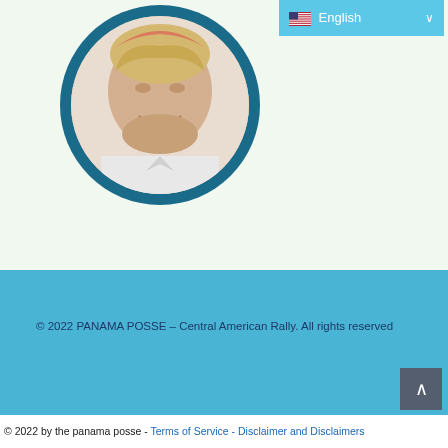[Figure (photo): Circular framed photo of a smiling young man with light hair, wearing a construction hard hat, set against a light mint/cream background. The circle has a dark teal/navy border.]
English (language selector dropdown in top right)
© 2022 PANAMA POSSE – Central American Rally. All rights reserved
© 2022 by the panama posse - Terms of Service - Disclaimer and Disclaimers